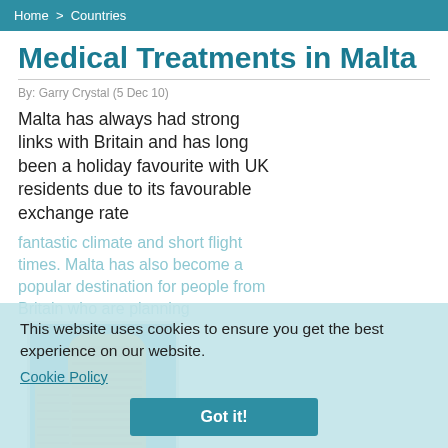Home > Countries
Medical Treatments in Malta
By: Garry Crystal (5 Dec 10)
Malta has always had strong links with Britain and has long been a holiday favourite with UK residents due to its favourable exchange rate
[Figure (photo): Photograph of a large curved multi-storey hotel or apartment building in Malta, with blue sky and waterfront visible]
fantastic climate and short flight times. Malta has also become a popular destination for people from Britain who are planning to have medical treatment abroad. Medical treatments in Malta range from cosmetic surgery to orthopaedic treatments to heart surgery.
This website uses cookies to ensure you get the best experience on our website.
Cookie Policy
Got it!